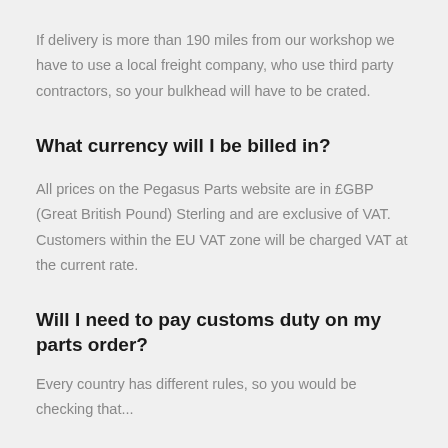If delivery is more than 190 miles from our workshop we have to use a local freight company, who use third party contractors, so your bulkhead will have to be crated.
What currency will I be billed in?
All prices on the Pegasus Parts website are in £GBP (Great British Pound) Sterling and are exclusive of VAT. Customers within the EU VAT zone will be charged VAT at the current rate.
Will I need to pay customs duty on my parts order?
Every country has different rules, so you would checking that...